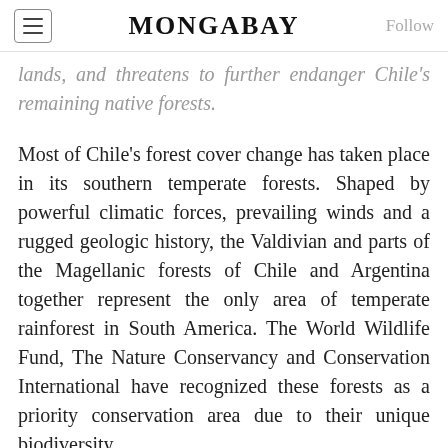MONGABAY
lands, and threatens to further endanger Chile's remaining native forests.
Most of Chile's forest cover change has taken place in its southern temperate forests. Shaped by powerful climatic forces, prevailing winds and a rugged geologic history, the Valdivian and parts of the Magellanic forests of Chile and Argentina together represent the only area of temperate rainforest in South America. The World Wildlife Fund, The Nature Conservancy and Conservation International have recognized these forests as a priority conservation area due to their unique biodiversity, including the southern pudu (Pudu
including the southern pudu (Pudu